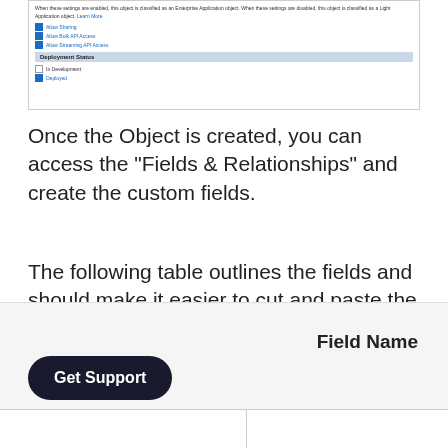[Figure (screenshot): A screenshot of a Salesforce app configuration interface showing checkboxes for Allow Sharing, Allow Bulk API Access, Allow Streaming API Access, and a Deployment Status section with In Development and Deployed options.]
Once the Object is created, you can access the "Fields & Relationships" and create the custom fields.
The following table outlines the fields and should make it easier to cut and paste the field labels and names:
Salesforce Custom Field Mapping
| Field Name |
| --- |